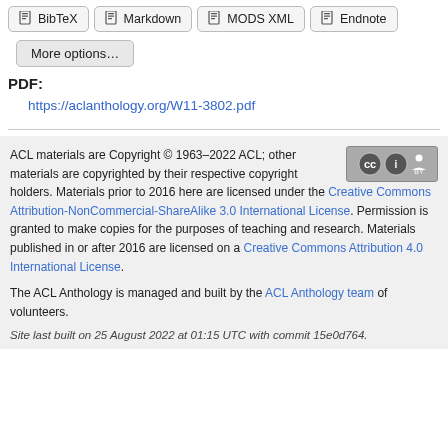BibTeX
Markdown
MODS XML
Endnote
More options…
PDF:
https://aclanthology.org/W11-3802.pdf
ACL materials are Copyright © 1963–2022 ACL; other materials are copyrighted by their respective copyright holders. Materials prior to 2016 here are licensed under the Creative Commons Attribution-NonCommercial-ShareAlike 3.0 International License. Permission is granted to make copies for the purposes of teaching and research. Materials published in or after 2016 are licensed on a Creative Commons Attribution 4.0 International License.
The ACL Anthology is managed and built by the ACL Anthology team of volunteers.
Site last built on 25 August 2022 at 01:15 UTC with commit 15e0d764.